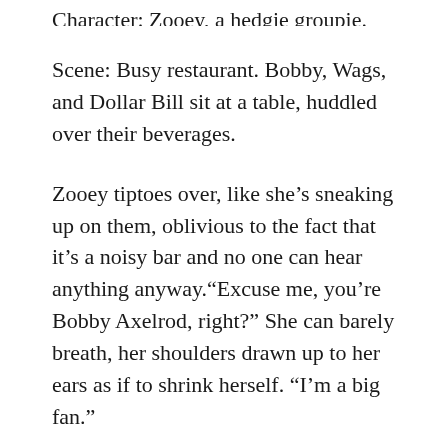Character: Zooey, a hedgie groupie.
Scene: Busy restaurant. Bobby, Wags, and Dollar Bill sit at a table, huddled over their beverages.
Zooey tiptoes over, like she’s sneaking up on them, oblivious to the fact that it’s a noisy bar and no one can hear anything anyway.“Excuse me, you’re Bobby Axelrod, right?” She can barely breath, her shoulders drawn up to her ears as if to shrink herself. “I’m a big fan.”
“Oh, thanks.” Bobby rolls his eyes at his table mates and takes a supercilious turn towards her. “You follow the market, do you?”